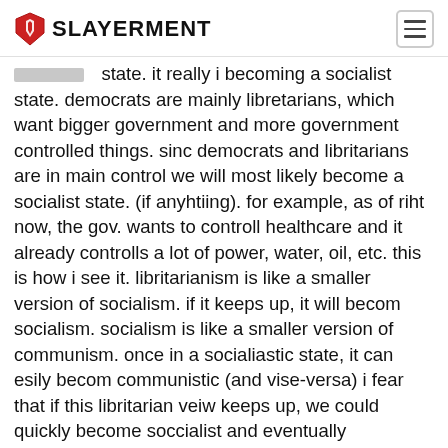SLAYERMENT
state. it really i becoming a socialist state. democrats are mainly libretarians, which want bigger government and more government controlled things. sinc democrats and libritarians are in main control we will most likely become a socialist state. (if anyhtiing). for example, as of riht now, the gov. wants to controll healthcare and it already controlls a lot of power, water, oil, etc. this is how i see it. libritarianism is like a smaller version of socialism. if it keeps up, it will becom socialism. socialism is like a smaller version of communism. once in a socialiastic state, it can esily becom communistic (and vise-versa) i fear that if this libritarian veiw keeps up, we could quickly become soccialist and eventually communist. wich last time i checked, the U.S, was trying to stop. fascism is a whole differert ballpark. as of right now, we are not warlike or highly punishing as a countryy. if you fear a fasciest state then you should probably think about it again.